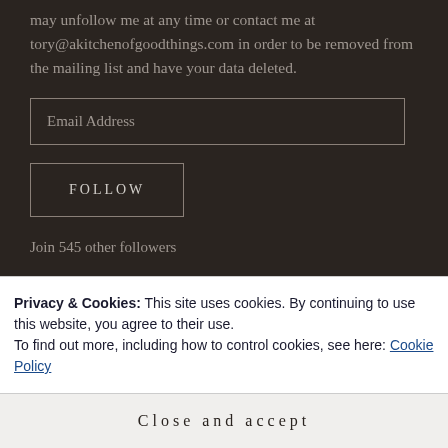may unfollow me at any time or contact me at tory@akitchenofgoodthings.com in order to be removed from the mailing list and have your data deleted.
Email Address
FOLLOW
Join 545 other followers
Privacy & Cookies: This site uses cookies. By continuing to use this website, you agree to their use.
To find out more, including how to control cookies, see here: Cookie Policy
Close and accept